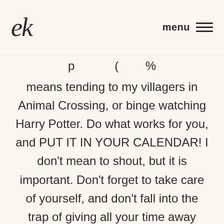ek  menu ≡
p … ( … %
means tending to my villagers in Animal Crossing, or binge watching Harry Potter. Do what works for you, and PUT IT IN YOUR CALENDAR! I don't mean to shout, but it is important. Don't forget to take care of yourself, and don't fall into the trap of giving all your time away